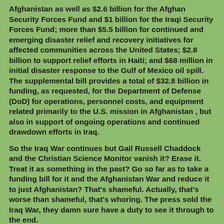Afghanistan as well as $2.6 billion for the Afghan Security Forces Fund and $1 billion for the Iraqi Security Forces Fund; more than $5.5 billion for continued and emerging disaster relief and recovery initiatives for affected communities across the United States; $2.8 billion to support relief efforts in Haiti; and $68 million in initial disaster response to the Gulf of Mexico oil spill. The supplemental bill provides a total of $32.8 billion in funding, as requested, for the Department of Defense (DoD) for operations, personnel costs, and equipment related primarily to the U.S. mission in Afghanistan , but also in support of ongoing operations and continued drawdown efforts in Iraq.
So the Iraq War continues but Gail Russell Chaddock and the Christian Science Monitor vanish it? Erase it. Treat it as something in the past? Go so far as to take a funding bill for it and the Afghanistan War and reduce it to just Afghanistan? That's shameful. Actually, that's worse than shameful, that's whoring. The press sold the Iraq War, they damn sure have a duty to see it through to the end.
US House Rep Lynn Woolsey (at The Hill) points out, "A week